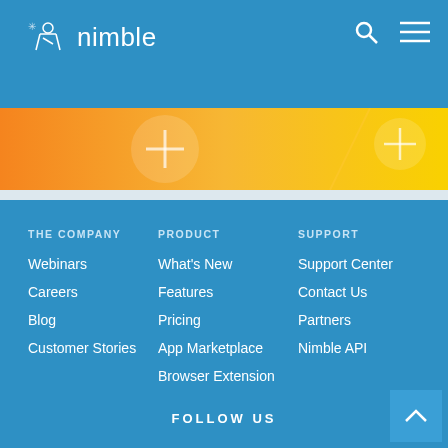nimble
[Figure (screenshot): Orange to yellow gradient banner strip with circular plus icons and a diagonal divider line]
THE COMPANY
Webinars
Careers
Blog
Customer Stories
PRODUCT
What's New
Features
Pricing
App Marketplace
Browser Extension
SUPPORT
Support Center
Contact Us
Partners
Nimble API
FOLLOW US